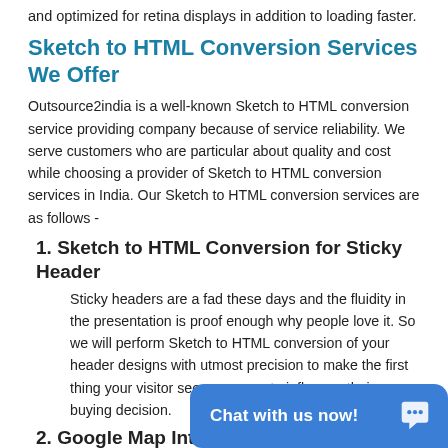and optimized for retina displays in addition to loading faster.
Sketch to HTML Conversion Services We Offer
Outsource2india is a well-known Sketch to HTML conversion service providing company because of service reliability. We serve customers who are particular about quality and cost while choosing a provider of Sketch to HTML conversion services in India. Our Sketch to HTML conversion services are as follows -
1. Sketch to HTML Conversion for Sticky Header
Sticky headers are a fad these days and the fluidity in the presentation is proof enough why people love it. So we will perform Sketch to HTML conversion of your header designs with utmost precision to make the first thing your visitor sees a reason to influence their buying decision.
2. Google Map Integration via Sketch to HTML Conversion
Maybe you want a c… site to help visitors …